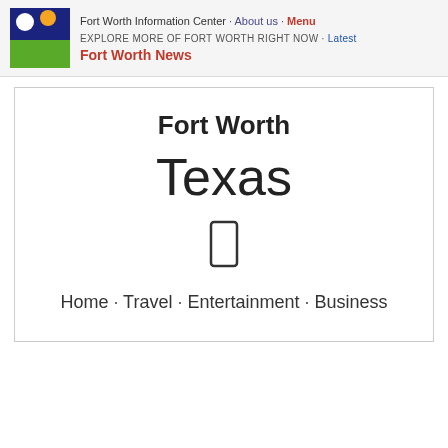Fort Worth Information Center · About us · Menu
EXPLORE MORE OF FORT WORTH RIGHT NOW · Latest
Fort Worth News
Fort Worth
Texas
[Figure (other): Phone/mobile icon (rectangular outline)]
Home · Travel · Entertainment · Business